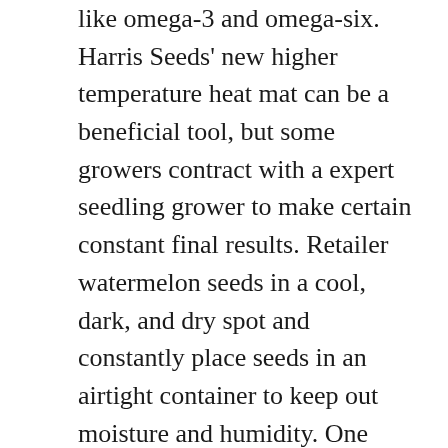like omega-3 and omega-six. Harris Seeds' new higher temperature heat mat can be a beneficial tool, but some growers contract with a expert seedling grower to make certain constant final results. Retailer watermelon seeds in a cool, dark, and dry spot and constantly place seeds in an airtight container to keep out moisture and humidity. One particular cup of watermelon seeds give your metabolism the kick it demands and nourishes your body with crucial nutrients as effectively. Plant in rich, well-drained soil in full sun with lots of air circulation, and you will get healthful plants that bear lots of fruit. These round melons are higher in vitamins A, B, and C and can grow to 25 pounds. Consuming a diet high in plant-primarily based protein may assist prevent cancer, and the phytochemicals accessible in plant foods support